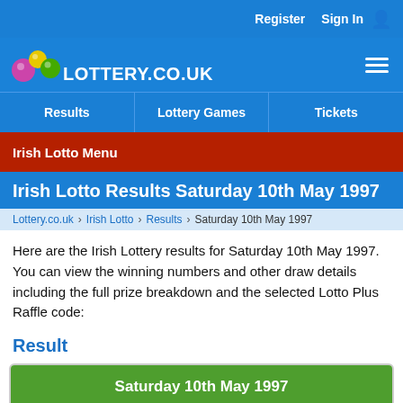Register   Sign In
[Figure (logo): Lottery.co.uk logo with coloured balls and hamburger menu icon]
Results   Lottery Games   Tickets
Irish Lotto Menu
Irish Lotto Results Saturday 10th May 1997
Lottery.co.uk  Irish Lotto  Results  Saturday 10th May 1997
Here are the Irish Lottery results for Saturday 10th May 1997. You can view the winning numbers and other draw details including the full prize breakdown and the selected Lotto Plus Raffle code:
Result
| Saturday 10th May 1997 |
| --- |
| (lottery balls) |